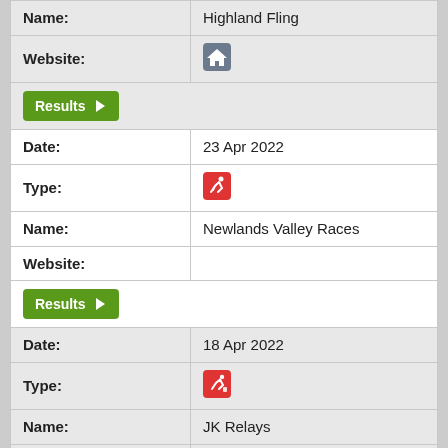| Field | Value |
| --- | --- |
| Name: | Highland Fling |
| Website: | [home icon] |
|  | Results ▶ |
| Date: | 23 Apr 2022 |
| Type: | [running icon] |
| Name: | Newlands Valley Races |
| Website: |  |
|  | Results ▶ |
| Date: | 18 Apr 2022 |
| Type: | [relay icon] |
| Name: | JK Relays |
| Website: | [home icon] |
|  | Results ▶ |
| Date: | 17 Apr 2022 |
| Type: | [bike icon] |
| Name: | Welsh Enduro Series R1... |